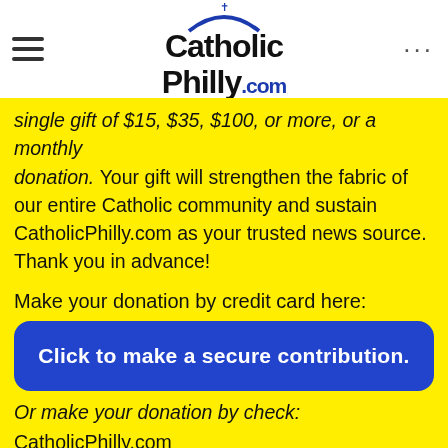[Figure (logo): CatholicPhilly.com logo with cross and arch above text]
single gift of $15, $35, $100, or more, or a monthly donation. Your gift will strengthen the fabric of our entire Catholic community and sustain CatholicPhilly.com as your trusted news source. Thank you in advance!
Make your donation by credit card here:
Click to make a secure contribution.
Or make your donation by check:
CatholicPhilly.com
222 N. 17th Street
Philadelphia, PA 19103